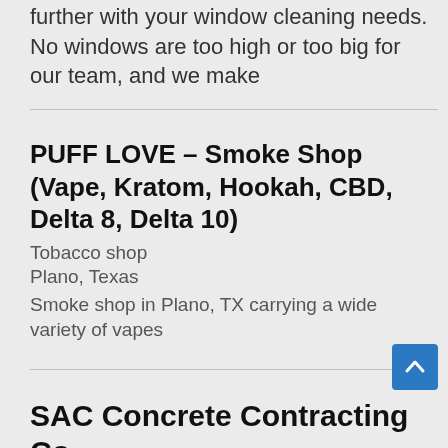further with your window cleaning needs. No windows are too high or too big for our team, and we make
PUFF LOVE – Smoke Shop (Vape, Kratom, Hookah, CBD, Delta 8, Delta 10)
Tobacco shop
Plano, Texas
Smoke shop in Plano, TX carrying a wide variety of vapes
SAC Concrete Contracting Co.
Flooring contractor